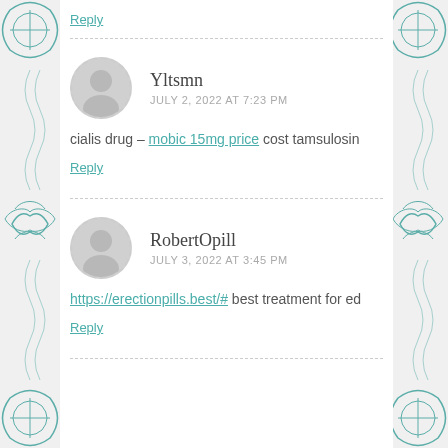Reply
Yltsmn
JULY 2, 2022 AT 7:23 PM
cialis drug – mobic 15mg price cost tamsulosin
Reply
RobertOpill
JULY 3, 2022 AT 3:45 PM
https://erectionpills.best/# best treatment for ed
Reply